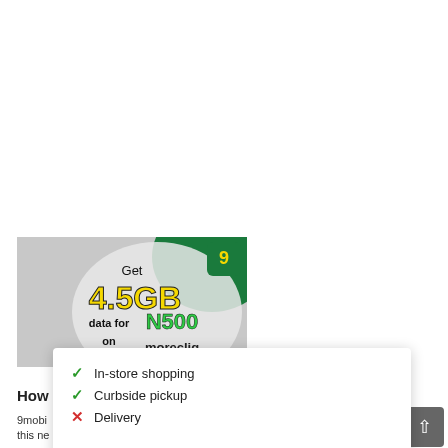[Figure (illustration): 9mobile advertisement: Get 4.5GB data for N500 on moreclig. Green and grey background with bold yellow and green text.]
How
9mobi... this ne...
[Figure (infographic): Popup overlay showing store info: checkmark In-store shopping, checkmark Curbside pickup, X Delivery. Also shows a navigation/direction icon (blue diamond with arrow), a small logo, play and close icons.]
In-store shopping
Curbside pickup
Delivery